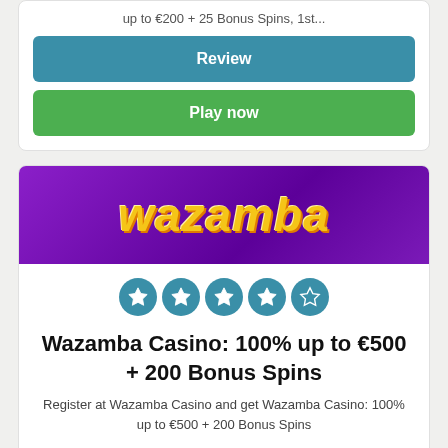up to €200 + 25 Bonus Spins, 1st...
Review
Play now
[Figure (logo): Wazamba Casino logo on purple background with yellow italic text]
[Figure (other): 5 star rating circles, 4 filled stars and 1 empty star on teal circles]
Wazamba Casino: 100% up to €500 + 200 Bonus Spins
Register at Wazamba Casino and get Wazamba Casino: 100% up to €500 + 200 Bonus Spins
Review